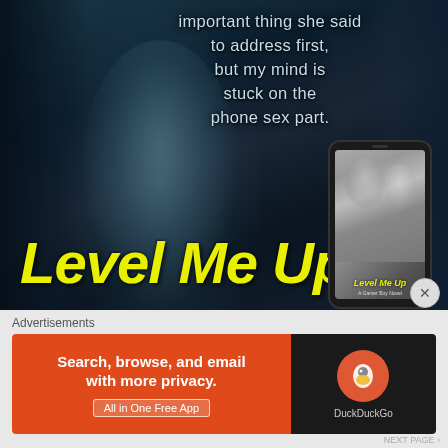[Figure (illustration): Book promotional image for 'Level Me Up' — a Gamer Boy Novel. Dark teal/navy background with a male torso. White/light-blue cursive-style text reads: 'important thing she said to address first, but my mind is stuck on the phone sex part.' Large yellow italic graffiti-style title text 'Level Me Up' at bottom left. A smartphone mockup at bottom right displaying the book cover.]
Advertisements
[Figure (screenshot): DuckDuckGo advertisement banner. Orange left section with white bold text: 'Search, browse, and email with more privacy.' with 'All in One Free App' button. Black right section with DuckDuckGo circular logo and 'DuckDuckGo' label.]